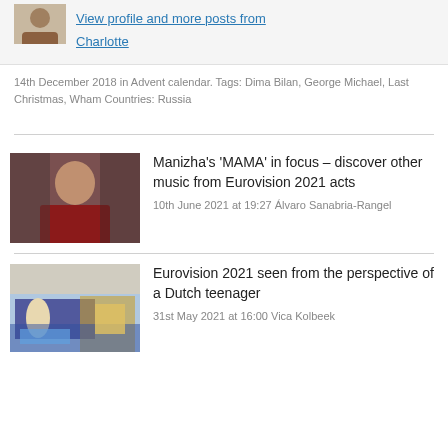View profile and more posts from Charlotte
14th December 2018 in Advent calendar. Tags: Dima Bilan, George Michael, Last Christmas, Wham Countries: Russia
Manizha's 'MAMA' in focus – discover other music from Eurovision 2021 acts
10th June 2021 at 19:27 Álvaro Sanabria-Rangel
Eurovision 2021 seen from the perspective of a Dutch teenager
31st May 2021 at 16:00 Vica Kolbeek